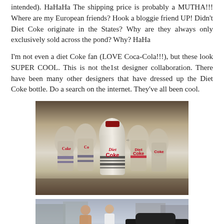intended). HaHaHa The shipping price is probably a MUTHA!!! Where are my European friends? Hook a bloggie friend UP! Didn't Diet Coke originate in the States? Why are they always only exclusively sold across the pond? Why? HaHa
I'm not even a diet Coke fan (LOVE Coca-Cola!!!), but these look SUPER COOL. This is not the1st designer collaboration. There have been many other designers that have dressed up the Diet Coke bottle. Do a search on the internet. They've all been cool.
[Figure (photo): Multiple Diet Coke designer bottles arranged in a group, showing striped and patterned designs with Diet Coke branding visible on the labels]
[Figure (photo): People standing outdoors near a car on a city street]